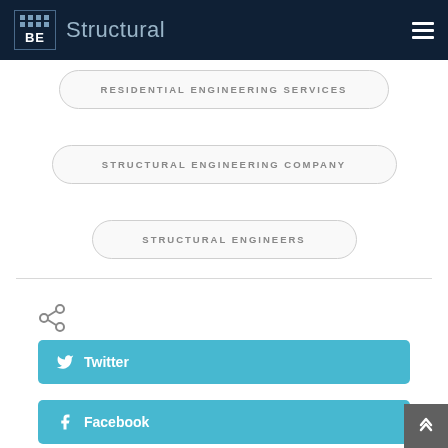BE Structural
RESIDENTIAL ENGINEERING SERVICES
STRUCTURAL ENGINEERING COMPANY
STRUCTURAL ENGINEERS
[Figure (other): Share icon]
Twitter
Facebook